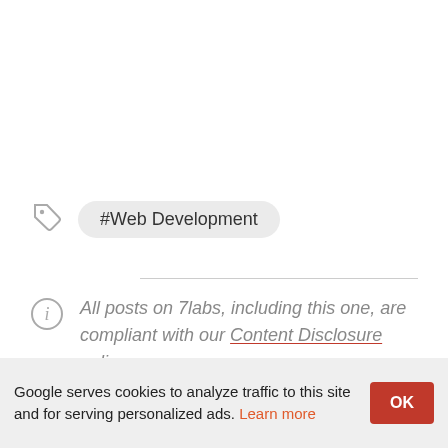#Web Development
All posts on 7labs, including this one, are compliant with our Content Disclosure policy.
Google serves cookies to analyze traffic to this site and for serving personalized ads. Learn more